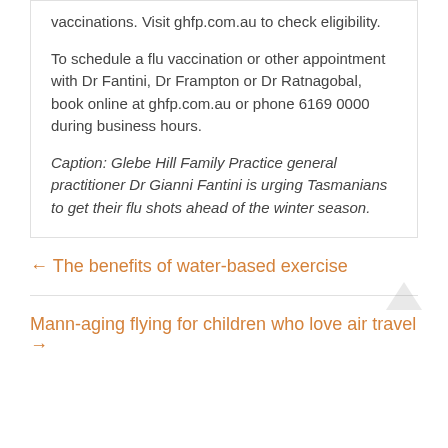vaccinations. Visit ghfp.com.au to check eligibility.
To schedule a flu vaccination or other appointment with Dr Fantini, Dr Frampton or Dr Ratnagobal, book online at ghfp.com.au or phone 6169 0000 during business hours.
Caption: Glebe Hill Family Practice general practitioner Dr Gianni Fantini is urging Tasmanians to get their flu shots ahead of the winter season.
← The benefits of water-based exercise
Mann-aging flying for children who love air travel →